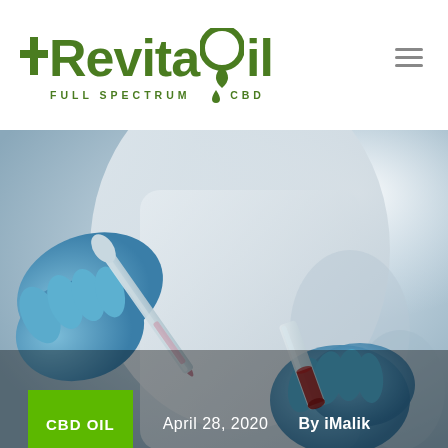[Figure (logo): RevitaOil Full Spectrum CBD logo in dark green with cross symbol and map pin drop replacing the O]
[Figure (photo): A laboratory researcher in blue nitrile gloves and white coat handling a pipette and a test tube containing red liquid (blood sample), blurred scientific background]
CBD OIL   April 28, 2020   By iMalik